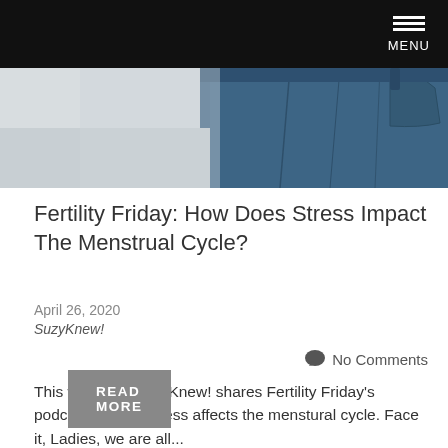MENU
[Figure (photo): Partial photo showing a person in denim jeans against a light grey background]
Fertility Friday: How Does Stress Impact The Menstrual Cycle?
April 26, 2020
SuzyKnew!
No Comments
This weekend SuzyKnew! shares Fertility Friday's podcast on how stress affects the menstural cycle. Face it, Ladies, we are all...
READ MORE